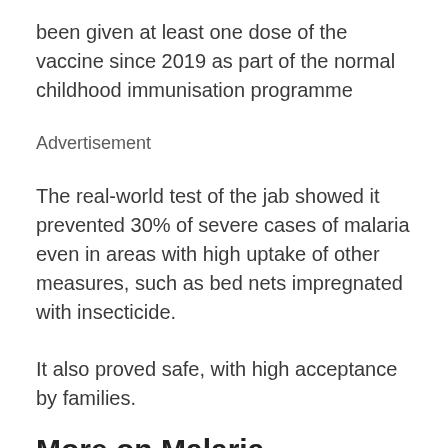been given at least one dose of the vaccine since 2019 as part of the normal childhood immunisation programme
Advertisement
The real-world test of the jab showed it prevented 30% of severe cases of malaria even in areas with high uptake of other measures, such as bed nets impregnated with insecticide.
It also proved safe, with high acceptance by families.
More on Malaria Related Topics:
Malaria resulted in 409,000 deaths in 2019, the vast majority of them in sub-Saharan Africa.